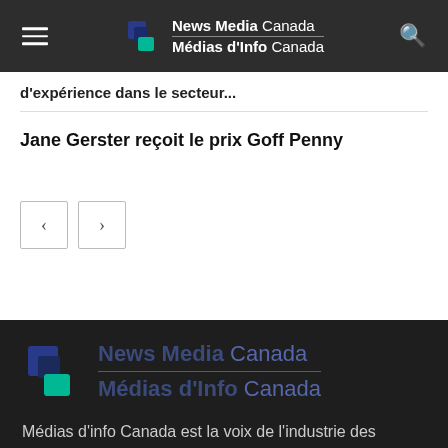News Media Canada / Médias d'Info Canada
d'expérience dans le secteur...
Jane Gerster reçoit le prix Goff Penny
[Figure (other): Navigation previous and next buttons (< and >)]
[Figure (logo): News Media Canada / Médias d'Info Canada logo on dark background]
Médias d'info Canada est la voix de l'industrie des médias d'information du Canada. L'organisme représente plus de 800 titres dans les provinces et